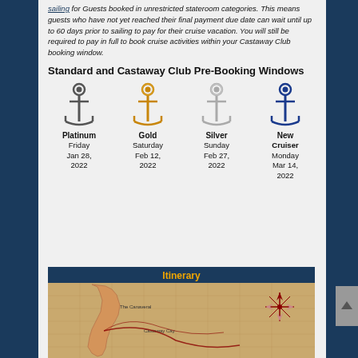sailing for Guests booked in unrestricted stateroom categories. This means guests who have not yet reached their final payment due date can wait until up to 60 days prior to sailing to pay for their cruise vacation. You will still be required to pay in full to book cruise activities within your Castaway Club booking window.
Standard and Castaway Club Pre-Booking Windows
[Figure (infographic): Four anchor icons representing cruise loyalty tiers: Platinum (dark/iron anchor), Gold (gold anchor), Silver (silver anchor), New Cruiser (blue anchor), with pre-booking dates below each.]
Platinum
Friday
Jan 28,
2022
Gold
Saturday
Feb 12,
2022
Silver
Sunday
Feb 27,
2022
New Cruiser
Monday
Mar 14,
2022
[Figure (map): Nautical-style cruise itinerary map showing Florida coastline and cruise route with compass rose, on aged parchment background with blue borders labeled Itinerary.]